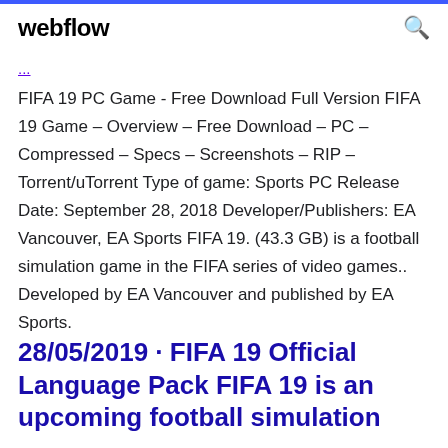webflow
FIFA 19 PC Game - Free Download Full Version FIFA 19 Game – Overview – Free Download – PC – Compressed – Specs – Screenshots – RIP – Torrent/uTorrent Type of game: Sports PC Release Date: September 28, 2018 Developer/Publishers: EA Vancouver, EA Sports FIFA 19. (43.3 GB) is a football simulation game in the FIFA series of video games.. Developed by EA Vancouver and published by EA Sports.
28/05/2019 · FIFA 19 Official Language Pack FIFA 19 is an upcoming football simulation